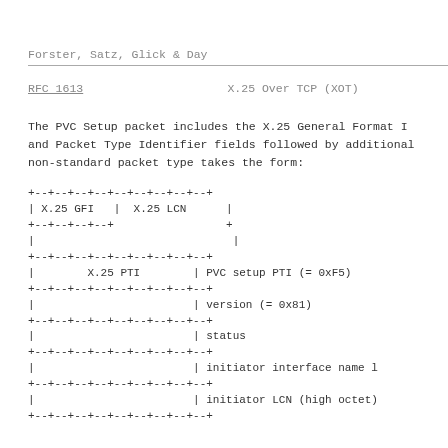Forster, Satz, Glick & Day
RFC 1613                        X.25 Over TCP (XOT)
The PVC Setup packet includes the X.25 General Format I and Packet Type Identifier fields followed by additional non-standard packet type takes the form:
[Figure (schematic): Packet format diagram showing X.25 GFI, X.25 LCN, X.25 PTI (PVC setup PTI = 0xF5), version (= 0x81), status, initiator interface name l, initiator LCN (high octet) fields in box diagram format]